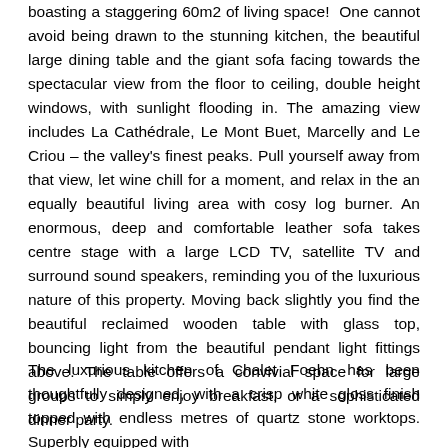boasting a staggering 60m2 of living space! One cannot avoid being drawn to the stunning kitchen, the beautiful large dining table and the giant sofa facing towards the spectacular view from the floor to ceiling, double height windows, with sunlight flooding in. The amazing view includes La Cathédrale, Le Mont Buet, Marcelly and Le Criou – the valley's finest peaks. Pull yourself away from that view, let wine chill for a moment, and relax in the an equally beautiful living area with cosy log burner. An enormous, deep and comfortable leather sofa takes centre stage with a large LCD TV, satellite TV and surround sound speakers, reminding you of the luxurious nature of this property. Moving back slightly you find the beautiful reclaimed wooden table with glass top, bouncing light from the beautiful pendant light fittings above. The table offers a convivial space for large groups to simply enjoy breakfast, or a sophisticated dinner party.
The luxurious kitchen of Chalet Foehn has been thoughtfully designed, with a crisp white gloss finish topped with endless metres of quartz stone worktops. Superbly equipped with